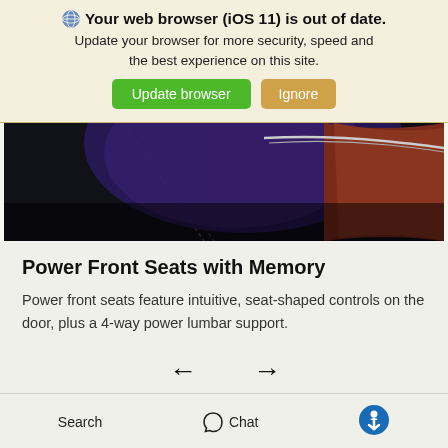🌐 Your web browser (iOS 11) is out of date. Update your browser for more security, speed and the best experience on this site. [Update browser] [Ignore]
[Figure (photo): Close-up of a car interior showing dark leather seat with stitching, purple/dark dashboard and reddish-brown door panel]
Power Front Seats with Memory
Power front seats feature intuitive, seat-shaped controls on the door, plus a 4-way power lumbar support.
← →
Search  Chat  [Accessibility icon]